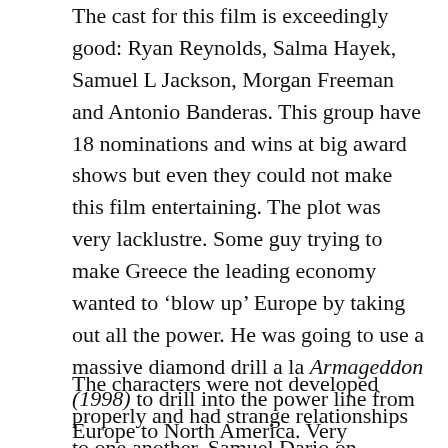The cast for this film is exceedingly good: Ryan Reynolds, Salma Hayek, Samuel L Jackson, Morgan Freeman and Antonio Banderas. This group have 18 nominations and wins at big award shows but even they could not make this film entertaining. The plot was very lacklustre. Some guy trying to make Greece the leading economy wanted to 'blow up' Europe by taking out all the power. He was going to use a massive diamond drill a la Armageddon (1998) to drill into the power line from Europe to North America. Very unbelievable and like something from a 1950s comic strip.
The characters were not developed properly and had strange relationships to one another. Samuel Dario on Michael...